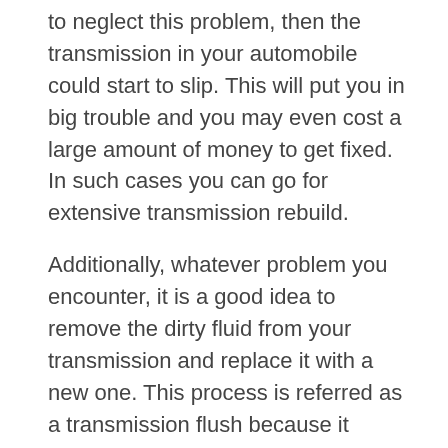to neglect this problem, then the transmission in your automobile could start to slip. This will put you in big trouble and you may even cost a large amount of money to get fixed. In such cases you can go for extensive transmission rebuild.
Additionally, whatever problem you encounter, it is a good idea to remove the dirty fluid from your transmission and replace it with a new one. This process is referred as a transmission flush because it involves the removal of all the contaminants and metal filings.
How much does it cost to do a transmission flush?
It is generally based on the type of automobile you are using and the quantity and type of fluid used in it. Basically, automatic transmission...